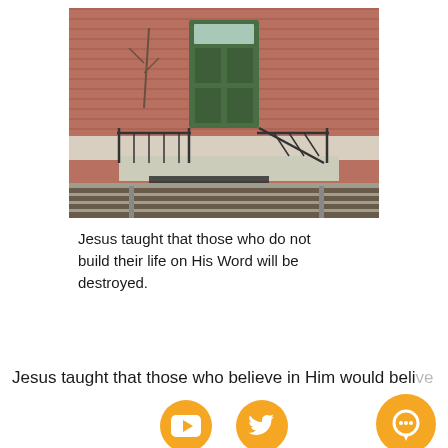[Figure (photo): A brick building facade with a green door elevated on a concrete platform, black metal railings on both sides, and railroad tracks in the foreground.]
Jesus taught that those who do not build their life on His Word will be destroyed.
Jesus taught that those who believe in Him would believe
[Figure (other): YouTube icon (orange circle with white play button) and Twitter bird icon (orange circle with white bird), plus an orange chat bubble icon on the right.]